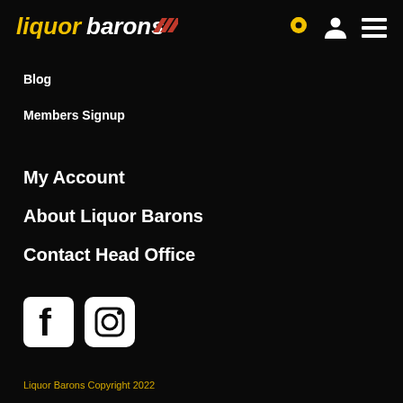[Figure (logo): Liquor Barons logo with yellow italic 'liquor' and white italic 'barons' text, red chevron/stripe icon]
Blog
Members Signup
My Account
About Liquor Barons
Contact Head Office
[Figure (other): Facebook and Instagram social media icons in white on dark square/circle backgrounds]
Liquor Barons Copyright 2022